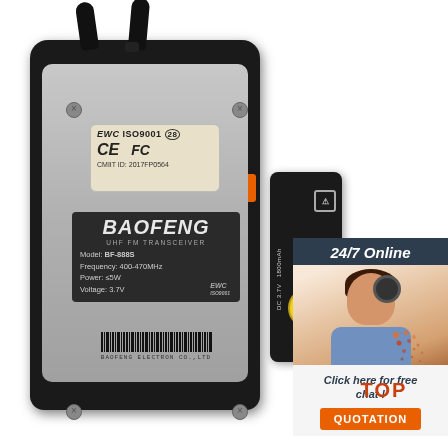[Figure (photo): Baofeng BF-888S UHF FM Transceiver handheld radio, back view showing silver panel with EWC ISO9001, CE, FC certifications, CMIIT ID: 2017FP0564, Baofeng brand label with model, frequency 400-470MHz, power ≤5W, voltage 3.7V, barcode, and BAOFENG ELECTRON CO.,LTD text. Orange side button visible. Adjacent battery pack side view.]
[Figure (photo): Customer service agent woman with headset smiling, with '24/7 Online' header banner in dark teal, 'Click here for free chat!' text, and orange QUOTATION button.]
[Figure (logo): TOP logo with orange/red dot pattern and bold red TOP text in bottom right corner.]